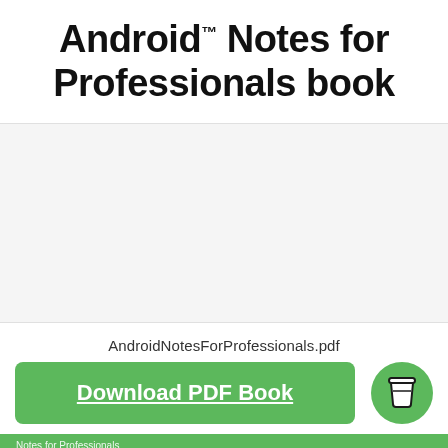Android™ Notes for Professionals book
[Figure (other): Empty white/light gray content area]
AndroidNotesForProfessionals.pdf
Download PDF Book
[Figure (other): Green coffee cup icon button (circular)]
Notes for Professionals